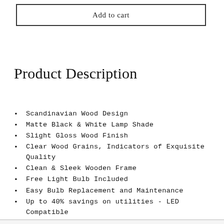Add to cart
Product Description
Scandinavian Wood Design
Matte Black & White Lamp Shade
Slight Gloss Wood Finish
Clear Wood Grains, Indicators of Exquisite Quality
Clean & Sleek Wooden Frame
Free Light Bulb Included
Easy Bulb Replacement and Maintenance
Up to 40% savings on utilities - LED Compatible